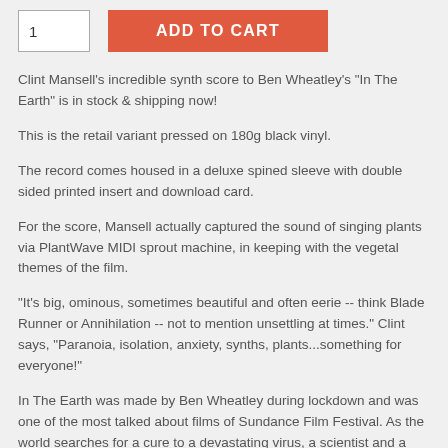1
ADD TO CART
Clint Mansell's incredible synth score to Ben Wheatley's "In The Earth" is in stock & shipping now!
This is the retail variant pressed on 180g black vinyl.
The record comes housed in a deluxe spined sleeve with double sided printed insert and download card.
For the score, Mansell actually captured the sound of singing plants via PlantWave MIDI sprout machine, in keeping with the vegetal themes of the film.
"It's big, ominous, sometimes beautiful and often eerie -- think Blade Runner or Annihilation -- not to mention unsettling at times." Clint says, "Paranoia, isolation, anxiety, synths, plants...something for everyone!"
In The Earth was made by Ben Wheatley during lockdown and was one of the most talked about films of Sundance Film Festival. As the world searches for a cure to a devastating virus, a scientist and a park scout venture deep into the woods. As night falls, their journey